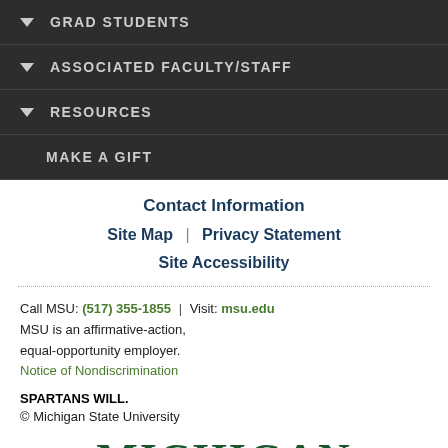▼ GRAD STUDENTS
▼ ASSOCIATED FACULTY/STAFF
▼ RESOURCES
MAKE A GIFT
Contact Information
Site Map | Privacy Statement
Site Accessibility
Call MSU: (517) 355-1855 | Visit: msu.edu
MSU is an affirmative-action, equal-opportunity employer.
Notice of Nondiscrimination
SPARTANS WILL.
© Michigan State University
MICHIGAN STATE